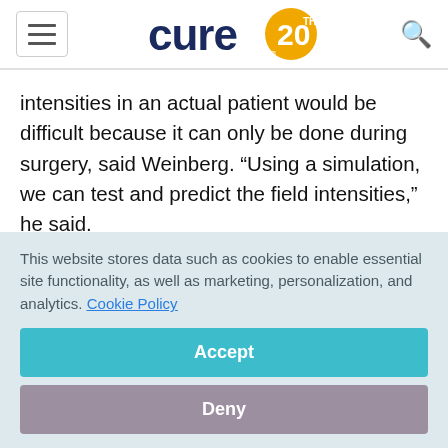CURE (logo with 20th anniversary)
intensities in an actual patient would be difficult because it can only be done during surgery, said Weinberg. “Using a simulation, we can test and predict the field intensities,” he said.

NovoTAL is a software that allows physicians to plan the array layout through measurements using MRI
This website stores data such as cookies to enable essential site functionality, as well as marketing, personalization, and analytics. Cookie Policy
Accept
Deny